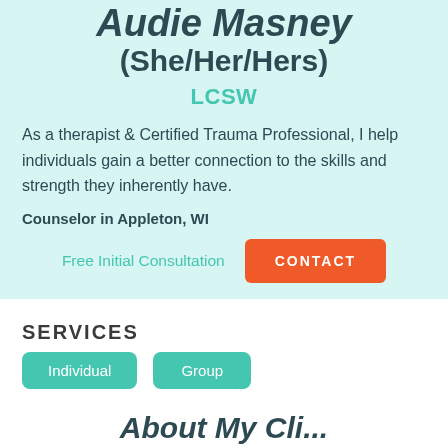(She/Her/Hers)
LCSW
As a therapist & Certified Trauma Professional, I help individuals gain a better connection to the skills and strength they inherently have.
Counselor in Appleton, WI
Free Initial Consultation
CONTACT
SERVICES
Individual
Group
About My Cli...